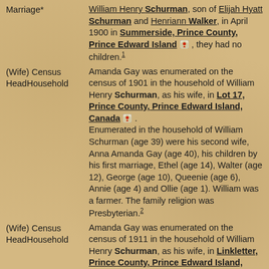Marriage* — William Henry Schurman, son of Elijah Hyatt Schurman and Henriann Walker, in April 1900 in Summerside, Prince County, Prince Edward Island [map], they had no children.1
(Wife) Census HeadHousehold — Amanda Gay was enumerated on the census of 1901 in the household of William Henry Schurman, as his wife, in Lot 17, Prince County, Prince Edward Island, Canada [map]. Enumerated in the household of William Schurman (age 39) were his second wife, Anna Amanda Gay (age 40), his children by his first marriage, Ethel (age 14), Walter (age 12), George (age 10), Queenie (age 6), Annie (age 4) and Ollie (age 1). William was a farmer. The family religion was Presbyterian.2
(Wife) Census HeadHousehold — Amanda Gay was enumerated on the census of 1911 in the household of William Henry Schurman, as his wife, in Linkletter, Prince County, Prince Edward Island, Canada [map].